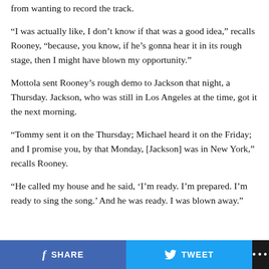from wanting to record the track.
“I was actually like, I don’t know if that was a good idea,” recalls Rooney, “because, you know, if he’s gonna hear it in its rough stage, then I might have blown my opportunity.”
Mottola sent Rooney’s rough demo to Jackson that night, a Thursday. Jackson, who was still in Los Angeles at the time, got it the next morning.
“Tommy sent it on the Thursday; Michael heard it on the Friday; and I promise you, by that Monday, [Jackson] was in New York,” recalls Rooney.
“He called my house and he said, ‘I’m ready. I’m prepared. I’m ready to sing the song.’ And he was ready. I was blown away.”
SHARE  TWEET  ...